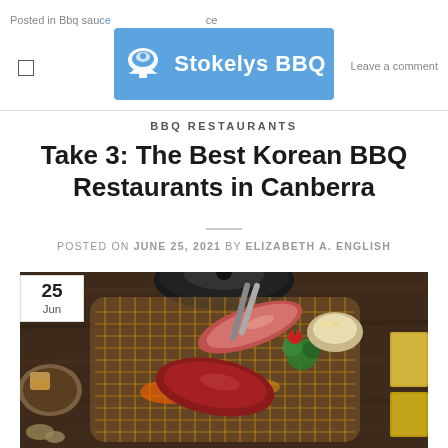Posted in Bbq sauce ... Leave a comment | Stokelys BBQ
BBQ RESTAURANTS
Take 3: The Best Korean BBQ Restaurants in Canberra
POSTED ON JUNE 25, 2021 BY ELIZABETH A. ENGLISH
[Figure (photo): Korean BBQ grill with raw meat, vegetables, and charcoal on a wire grill, with side dishes visible around it. Date badge showing 25 Jun overlaid in top-left corner.]